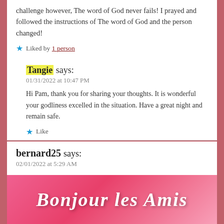challenge however, The word of God never fails! I prayed and followed the instructions of The word of God and the person changed!
★ Liked by 1 person
Tangie says:
01/31/2022 at 10:47 PM
Hi Pam, thank you for sharing your thoughts. It is wonderful your godliness excelled in the situation. Have a great night and remain safe.
★ Like
bernard25 says:
02/01/2022 at 5:29 AM
[Figure (photo): Pink/rose gradient banner with cursive white text reading 'Bonjour les Amis']